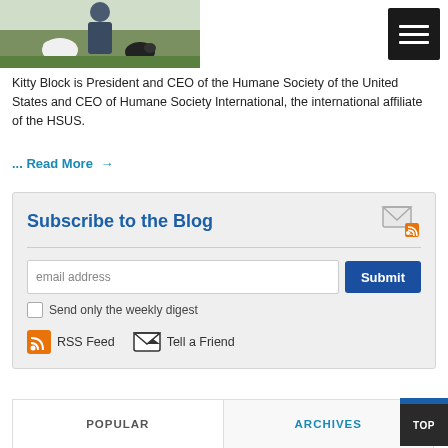[Figure (photo): Photo of a person with animals on grass, likely Kitty Block outdoors with animals]
[Figure (other): Hamburger menu button (dark/black square with three white horizontal lines)]
Kitty Block is President and CEO of the Humane Society of the United States and CEO of Humane Society International, the international affiliate of the HSUS.
... Read More →
Subscribe to the Blog
email address
Submit
Send only the weekly digest
RSS Feed
Tell a Friend
POPULAR
ARCHIVES
TOP